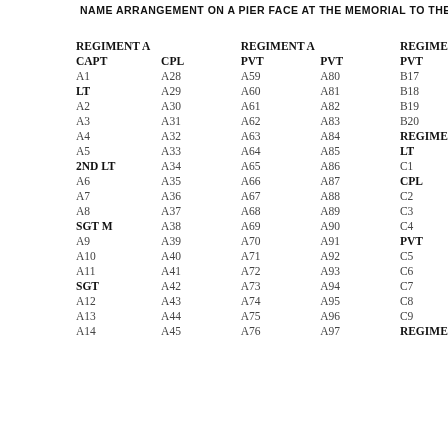NAME ARRANGEMENT ON A PIER FACE AT THE MEMORIAL TO THE
| REGIMENT A
CAPT | REGIMENT A
CPL | REGIMENT A
PVT | REGIMENT A
PVT | REGIMENT B
PVT | REGIMENT B
PVT | REGIM
L SGT |
| --- | --- | --- | --- | --- | --- | --- |
| A1 | A28 | A59 | A80 | B17 | B21 | E13 |
| LT | A29 | A60 | A81 | B18 | B22 | E14 |
| A2 | A30 | A61 | A82 | B19 | B23 | E15 |
| A3 | A31 | A62 | A83 | B20 | B24 | E16 |
| A4 | A32 | A63 | A84 | REGIMENT C |  | E17 |
| A5 | A33 | A64 | A85 | LT | PVT | E18 |
| 2ND LT | A34 | A65 | A86 | C1 | C10 | E19 |
| A6 | A35 | A66 | A87 | CPL | C11 | E20 |
| A7 | A36 | A67 | A88 | C2 | C12 | E21 |
| A8 | A37 | A68 | A89 | C3 | C13 | E22 |
| SGT M | A38 | A69 | A90 | C4 | C14 | CPL |
| A9 | A39 | A70 | A91 | PVT | C15 | E23 |
| A10 | A40 | A71 | A92 | C5 | C16 | E24 |
| A11 | A41 | A72 | A93 | C6 | C17 | E25 |
| SGT | A42 | A73 | A94 | C7 | C18 | E26 |
| A12 | A43 | A74 | A95 | C8 | C19 | E27 |
| A13 | A44 | A75 | A96 | C9 | C20 | E28 |
| A14 | A45 | A76 | A97 | REGIMENT D |  | E29 |